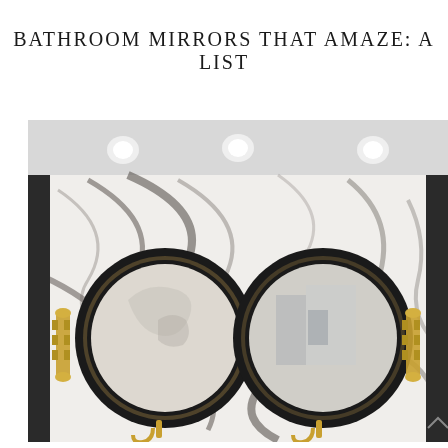BATHROOM MIRRORS THAT AMAZE: A LIST
[Figure (photo): Luxury bathroom interior with two large round black-framed LED backlit mirrors mounted on a white marble wall. Gold art-deco style wall sconces flank each side. The marble has dramatic dark grey veining. Recessed ceiling lights visible at top. Gold faucet fixtures at the bottom of the image.]